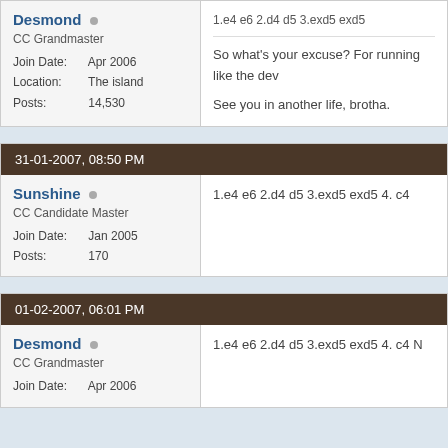Desmond
CC Grandmaster
Join Date: Apr 2006
Location: The island
Posts: 14,530
1.e4 e6 2.d4 d5 3.exd5 exd5
So what's your excuse? For running like the dev
See you in another life, brotha.
31-01-2007, 08:50 PM
Sunshine
CC Candidate Master
Join Date: Jan 2005
Posts: 170
1.e4 e6 2.d4 d5 3.exd5 exd5 4. c4
01-02-2007, 06:01 PM
Desmond
CC Grandmaster
Join Date: Apr 2006
1.e4 e6 2.d4 d5 3.exd5 exd5 4. c4 N